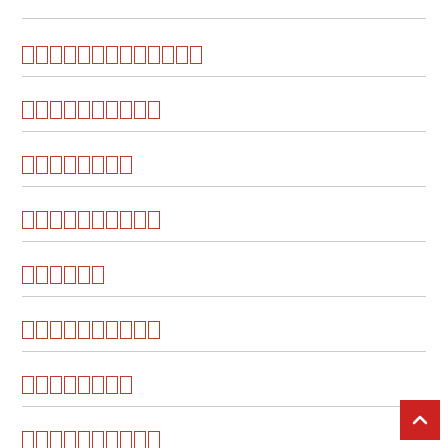[redacted - 13 chars]
[redacted - 10 chars]
[redacted - 8 chars]
[redacted - 10 chars]
[redacted - 6 chars]
[redacted - 10 chars]
[redacted - 8 chars]
[redacted - 10 chars]
[redacted - 13 chars]